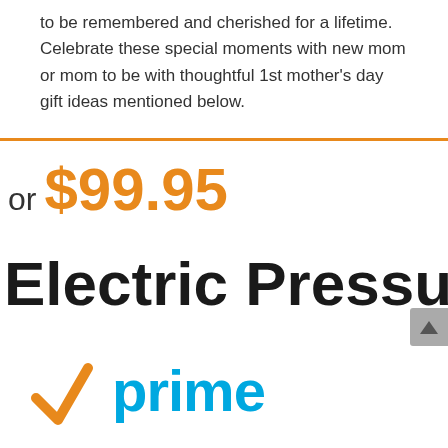to be remembered and cherished for a lifetime. Celebrate these special moments with new mom or mom to be with thoughtful 1st mother's day gift ideas mentioned below.
or $99.95
Electric Pressure
[Figure (logo): Amazon Prime logo with orange checkmark and 'prime' in blue text]